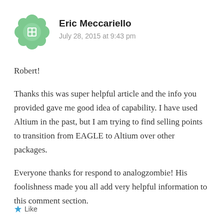[Figure (illustration): Green decorative avatar icon with a grid/cross pattern in the center, flower-like shape with rounded petals]
Eric Meccariello
July 28, 2015 at 9:43 pm
Robert!
Thanks this was super helpful article and the info you provided gave me good idea of capability. I have used Altium in the past, but I am trying to find selling points to transition from EAGLE to Altium over other packages.
Everyone thanks for respond to analogzombie! His foolishness made you all add very helpful information to this comment section.
Like